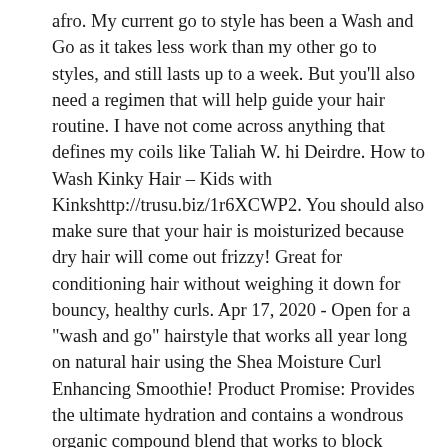afro. My current go to style has been a Wash and Go as it takes less work than my other go to styles, and still lasts up to a week. But you'll also need a regimen that will help guide your hair routine. I have not come across anything that defines my coils like Taliah W. hi Deirdre. How to Wash Kinky Hair – Kids with Kinkshttp://trusu.biz/1r6XCWP2. You should also make sure that your hair is moisturized because dry hair will come out frizzy! Great for conditioning hair without weighing it down for bouncy, healthy curls. Apr 17, 2020 - Open for a "wash and go" hairstyle that works all year long on natural hair using the Shea Moisture Curl Enhancing Smoothie! Product Promise: Provides the ultimate hydration and contains a wondrous organic compound blend that works to block build-up and stimulate healthy hair growth. The first time I tried it, I tried it alone with just some KCKT under it. Start twisting small sections of your hair and take your time twisting.